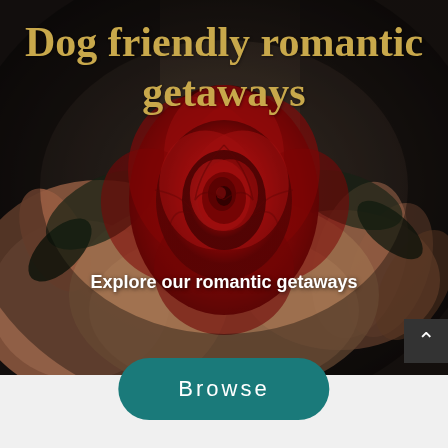[Figure (photo): A hand holding a red rose against a dark blurred background, serving as a hero image for a dog-friendly romantic getaways webpage]
Dog friendly romantic getaways
Explore our romantic getaways
Browse